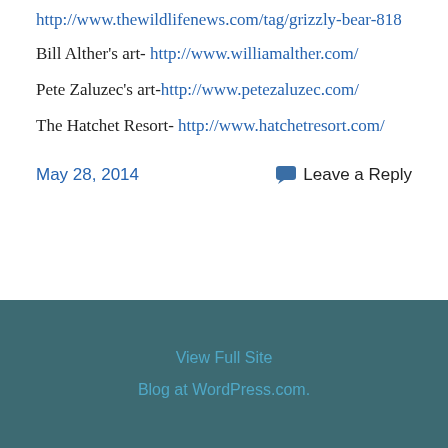http://www.thewildlifenews.com/tag/grizzly-bear-818
Bill Alther's art- http://www.williamalther.com/
Pete Zaluzec's art-http://www.petezaluzec.com/
The Hatchet Resort- http://www.hatchetresort.com/
May 28, 2014
Leave a Reply
View Full Site
Blog at WordPress.com.